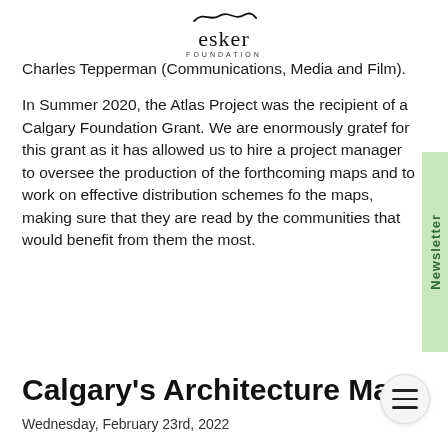[Figure (logo): Esker Foundation logo with stylized squiggle above the text 'esker' and 'FOUNDATION' below in small caps]
Charles Tepperman (Communications, Media and Film).
In Summer 2020, the Atlas Project was the recipient of a Calgary Foundation Grant. We are enormously grateful for this grant as it has allowed us to hire a project manager to oversee the production of the forthcoming maps and to work on effective distribution schemes for the maps, making sure that they are read by the communities that would benefit from them the most.
Calgary's Architecture Map
Wednesday, February 23rd, 2022